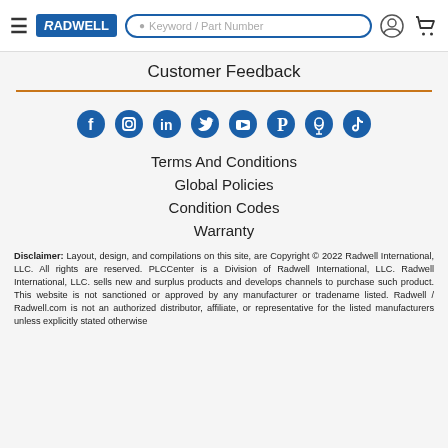Radwell — Keyword / Part Number search bar navigation
Customer Feedback
[Figure (illustration): Row of 8 social media icons in blue: Facebook, Instagram, LinkedIn, Twitter, YouTube, Pinterest, Podcast, TikTok]
Terms And Conditions
Global Policies
Condition Codes
Warranty
Disclaimer: Layout, design, and compilations on this site, are Copyright © 2022 Radwell International, LLC. All rights are reserved. PLCCenter is a Division of Radwell International, LLC. Radwell International, LLC. sells new and surplus products and develops channels to purchase such product. This website is not sanctioned or approved by any manufacturer or tradename listed. Radwell / Radwell.com is not an authorized distributor, affiliate, or representative for the listed manufacturers unless explicitly stated otherwise